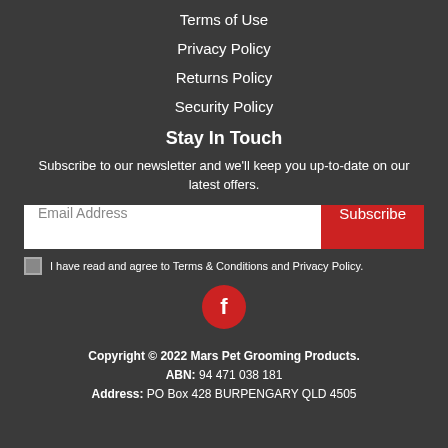Terms of Use
Privacy Policy
Returns Policy
Security Policy
Stay In Touch
Subscribe to our newsletter and we'll keep you up-to-date on our latest offers.
[Figure (other): Email address input field with Subscribe button and checkbox for terms agreement, plus Facebook icon]
Copyright © 2022 Mars Pet Grooming Products.
ABN: 94 471 038 181
Address: PO Box 428 BURPENGARY QLD 4505